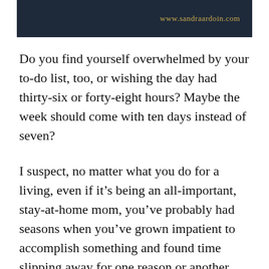www.sandraardoin.com
Do you find yourself overwhelmed by your to-do list, too, or wishing the day had thirty-six or forty-eight hours? Maybe the week should come with ten days instead of seven?
I suspect, no matter what you do for a living, even if it’s being an all-important, stay-at-home mom, you’ve probably had seasons when you’ve grown impatient to accomplish something and found time slipping away for one reason or another. Little things break into our moments to steal those intentions and wreck our plans. Distractions rise up like sea monsters to swallow our minutes and hours.